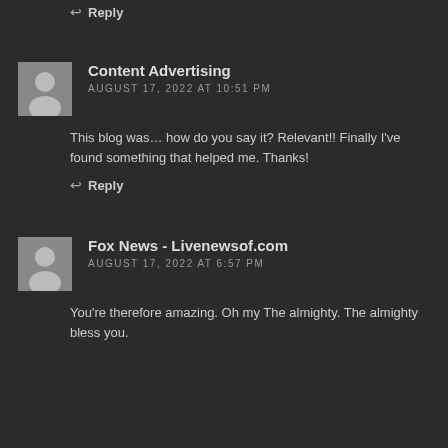↩ Reply
Content Advertising
AUGUST 17, 2022 AT 10:51 PM
This blog was… how do you say it? Relevant!! Finally I've found something that helped me. Thanks!
↩ Reply
Fox News - Livenewsof.com
AUGUST 17, 2022 AT 6:57 PM
You're therefore amazing. Oh my The almighty. The almighty bless you.